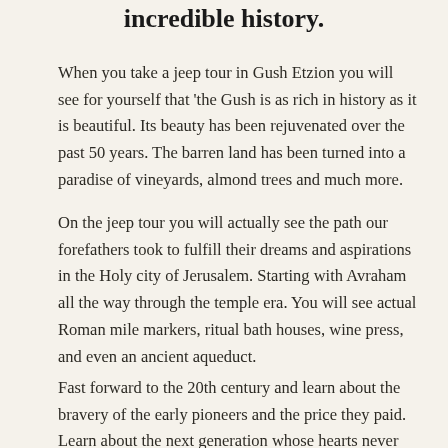incredible history.
When you take a jeep tour in Gush Etzion you will see for yourself that 'the Gush is as rich in history as it is beautiful. Its beauty has been rejuvenated over the past 50 years. The barren land has been turned into a paradise of vineyards, almond trees and much more.
On the jeep tour you will actually see the path our forefathers took to fulfill their dreams and aspirations in the Holy city of Jerusalem. Starting with Avraham all the way through the temple era. You will see actual Roman mile markers, ritual bath houses, wine press, and even an ancient aqueduct.
Fast forward to the 20th century and learn about the bravery of the early pioneers and the price they paid. Learn about the next generation whose hearts never left